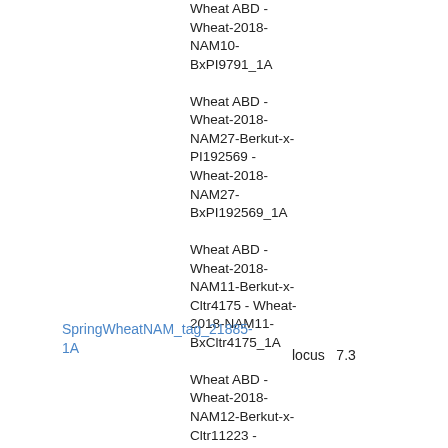Wheat ABD - Wheat-2018-NAM10-BxPI9791_1A
Wheat ABD - Wheat-2018-NAM27-Berkut-x-PI192569 - Wheat-2018-NAM27-BxPI192569_1A
SpringWheatNAM_tag_21885-1A
locus   7.3
Wheat ABD - Wheat-2018-NAM11-Berkut-x-Cltr4175 - Wheat-2018-NAM11-BxCltr4175_1A
Wheat ABD - Wheat-2018-NAM12-Berkut-x-Cltr11223 - Wheat-2018-NAM12-BxCltr11223_1A
Wheat ABD - Wheat-2018-NAM26-Berkut-x-PI185715 - Wheat-2018-